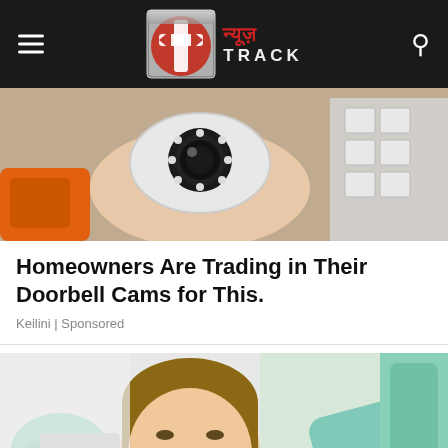न्यूज़ Track
[Figure (photo): Person holding a small security camera with orange drill tool visible on left]
Homeowners Are Trading in Their Doorbell Cams for This.
Keilini | Sponsored
[Figure (photo): Young woman smiling at dentist office, dental professionals with teal gloves holding dental tools]